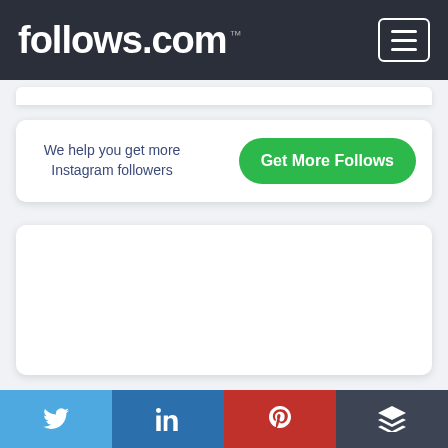follows.com
We help you get more Instagram followers
Get More Follows
[Figure (other): White content card / ad placeholder area]
For an account to be able to use Instagram Shopping, it also has to meet certain
[Figure (other): Social sharing buttons row: Twitter, LinkedIn, Pinterest, Buffer]